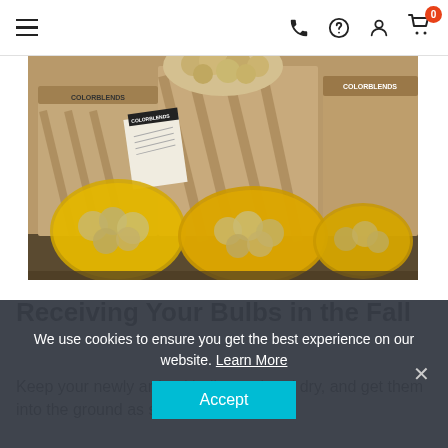Navigation bar with hamburger menu, phone, help, account, and cart (0) icons
[Figure (photo): Photo of Colorblends flower bulbs in yellow mesh bags and brown cardboard boxes labeled COLORBLENDS, arranged on a surface.]
Receiving Your Bulbs in the Fall
Keep your newly arrived bulbs cool and dry, and get them into the ground as soon as possible.
We use cookies to ensure you get the best experience on our website. Learn More
Accept